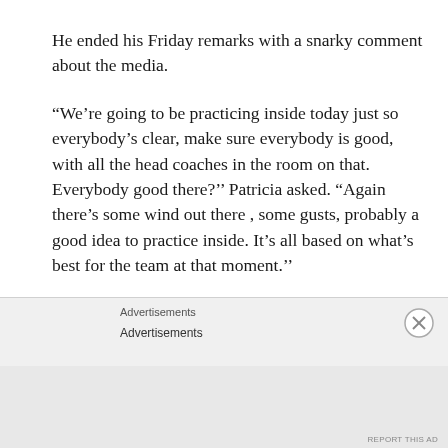He ended his Friday remarks with a snarky comment about the media.
“We’re going to be practicing inside today just so everybody’s clear, make sure everybody is good, with all the head coaches in the room on that. Everybody good there?’’ Patricia asked. “Again there’s some wind out there , some gusts, probably a good idea to practice inside. It’s all based on what’s best for the team at that moment.’’
Advertisements
Advertisements